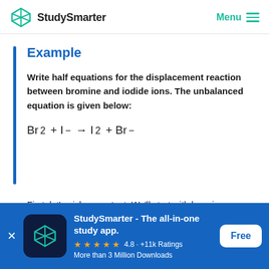StudySmarter   Menu
Example
Write half equations for the displacement reaction between bromine and iodide ions. The unbalanced equation is given below:
First, let's pick a reactant. We'll start with bromine.
StudySmarter - The all-in-one study app.
★★★★★ 4.8 · +11k Ratings
More than 3 Million Downloads
Free